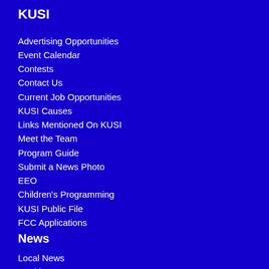KUSI
Advertising Opportunities
Event Calendar
Contests
Contact Us
Current Job Opportunities
KUSI Causes
Links Mentioned On KUSI
Meet the Team
Program Guide
Submit a News Photo
EEO
Children's Programming
KUSI Public File
FCC Applications
News
Local News
Health
Politics
Traffic & Accidents
California News
National News
Wildfires
Weather